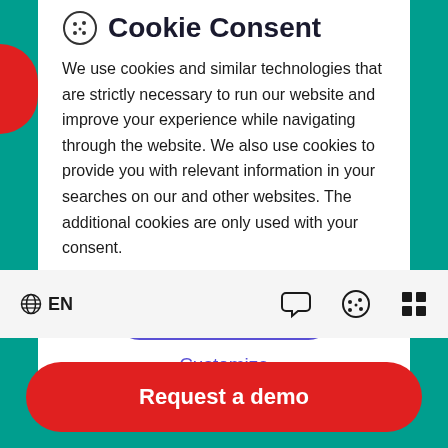Cookie Consent
We use cookies and similar technologies that are strictly necessary to run our website and improve your experience while navigating through the website. We also use cookies to provide you with relevant information in your searches on our and other websites. The additional cookies are only used with your consent.
Accept all
Customize
EN
Request a demo